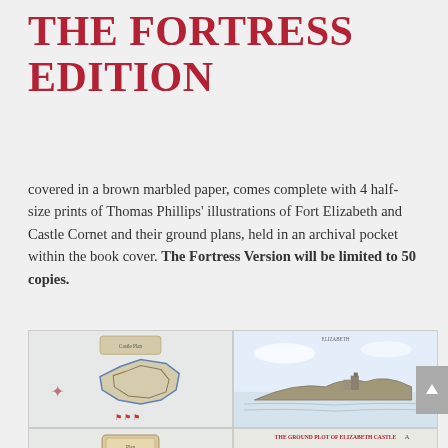THE FORTRESS EDITION
covered in a brown marbled paper, comes complete with 4 half-size prints of Thomas Phillips' illustrations of Fort Elizabeth and Castle Cornet and their ground plans, held in an archival pocket within the book cover. The Fortress Version will be limited to 50 copies.
[Figure (photo): Four historical map/illustration prints of Fort Elizabeth and Castle Cornet arranged in a 2x2 grid. Top left: overhead map plan of a fortress island. Top right: landscape view of castle on a coastal headland. Bottom left: decorative framed plan. Bottom right: ground plan labeled 'THE GROUND PLOT OF ELIZABETH CASTLE'.]